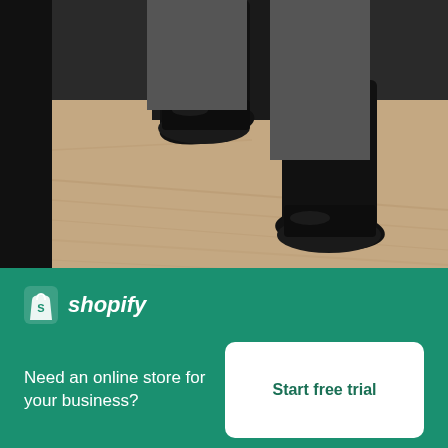[Figure (photo): Close-up photo of black dress shoes on a wooden floor, partial view showing legs in a grey suit]
Mens Grey & Black Suit
High resolution download ↓
[Figure (logo): Shopify logo with shopping bag icon and italic wordmark]
Need an online store for your business?
Start free trial